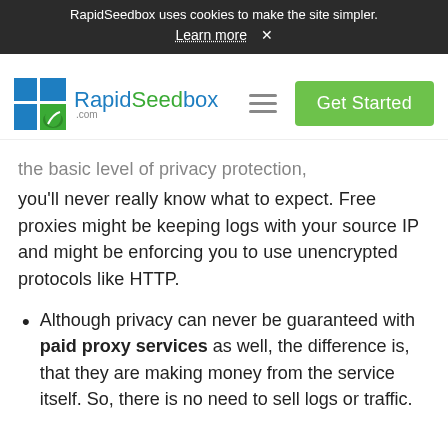RapidSeedbox uses cookies to make the site simpler. Learn more ✕
[Figure (logo): RapidSeedbox logo with blue and green grid icon and text]
the basic level of privacy protection, you'll never really know what to expect. Free proxies might be keeping logs with your source IP and might be enforcing you to use unencrypted protocols like HTTP.
Although privacy can never be guaranteed with paid proxy services as well, the difference is, that they are making money from the service itself. So, there is no need to sell logs or traffic.